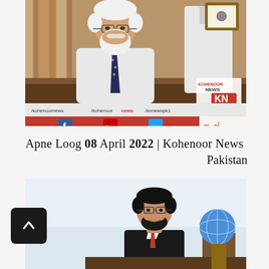[Figure (screenshot): TV news broadcast screenshot showing an elderly man with white beard and hair, wearing a white shirt and dark tie, seated in an office. Below the interview image is a social media bar showing /kohenoornews, /kohenoor news, /knnewspk1 handles, and a red bar with Facebook, YouTube, Twitter icons. Kohenoor News KN logo visible on the right. Website www.kohenoor.tv shown.]
Apne Loog 08 April 2022 | Kohenoor News Pakistan
[Figure (photo): A partial screenshot showing a younger man with glasses and beard wearing a black suit, seated in what appears to be a TV studio. A globe and some furniture visible in background. A black scroll-to-top button is visible in the bottom-left corner.]